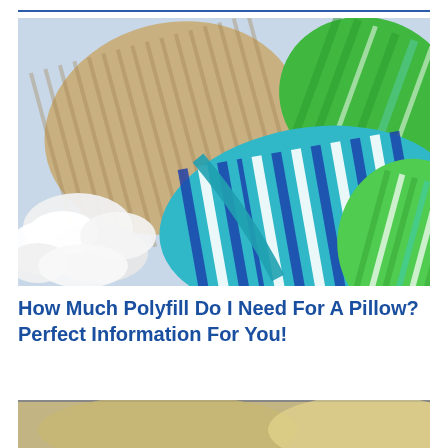[Figure (photo): Colorful decorative pillows with blue, green, teal, and tan/beige striped patterns arranged together with white polyfill stuffing visible in the foreground.]
How Much Polyfill Do I Need For A Pillow? Perfect Information For You!
[Figure (photo): Partial view of a pillow or bedding scene at the bottom of the page.]